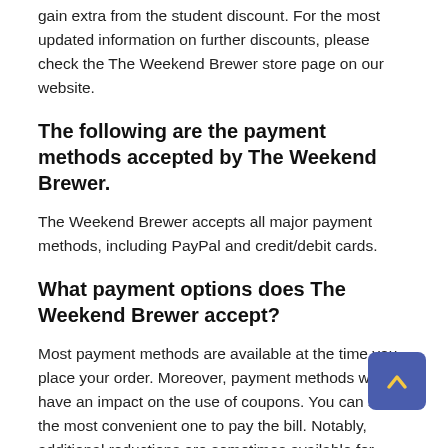gain extra from the student discount. For the most updated information on further discounts, please check the The Weekend Brewer store page on our website.
The following are the payment methods accepted by The Weekend Brewer.
The Weekend Brewer accepts all major payment methods, including PayPal and credit/debit cards.
What payment options does The Weekend Brewer accept?
Most payment methods are available at the time you place your order. Moreover, payment methods will not have an impact on the use of coupons. You can select the most convenient one to pay the bill. Notably, additional reductions are sometimes available for specific payment methods. The updated discount information will be given as fast as possible. Therefore, please pay closer attention to our website if you want to receive the best deal.